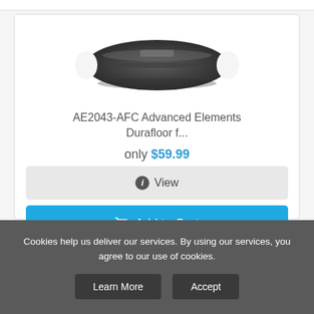[Figure (photo): Product image of AE2043-AFC Advanced Elements Durafloor — a dark-colored inflatable kayak floor mat viewed from above, oval/elongated shape with notches at the ends.]
AE2043-AFC Advanced Elements Durafloor f...
only $59.99
ℹ View
🛒 Add to Cart
Cookies help us deliver our services. By using our services, you agree to our use of cookies.
Learn More
Accept